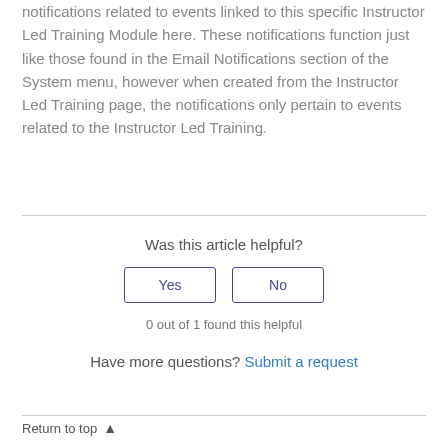notifications related to events linked to this specific Instructor Led Training Module here. These notifications function just like those found in the Email Notifications section of the System menu, however when created from the Instructor Led Training page, the notifications only pertain to events related to the Instructor Led Training.
Was this article helpful?
Yes
No
0 out of 1 found this helpful
Have more questions? Submit a request